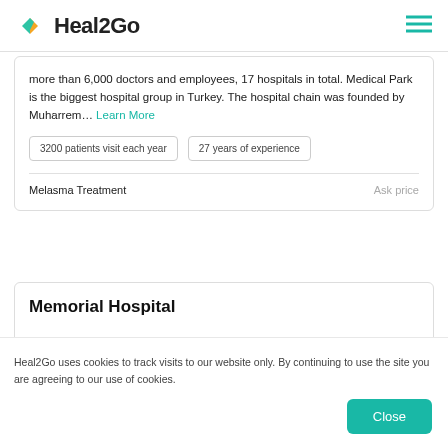Heal2Go
more than 6,000 doctors and employees, 17 hospitals in total. Medical Park is the biggest hospital group in Turkey. The hospital chain was founded by Muharrem... Learn More
3200 patients visit each year
27 years of experience
Melasma Treatment   Ask price
Memorial Hospital
Heal2Go uses cookies to track visits to our website only. By continuing to use the site you are agreeing to our use of cookies.